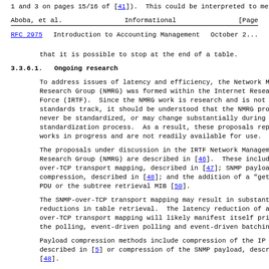1 and 3 on pages 15/16 of [41]). This could be interpreted to me...
Aboba, et al.          Informational                         [Page
RFC 2975      Introduction to Accounting Management      October 2...
that it is possible to stop at the end of a table.
3.3.6.1.   Ongoing research
To address issues of latency and efficiency, the Network Managemen... Research Group (NMRG) was formed within the Internet Research Task Force (IRTF). Since the NMRG work is research and is not on the standards track, it should be understood that the NMRG proposals m... never be standardized, or may change substantially during the standardization process. As a result, these proposals represent works in progress and are not readily available for use.
The proposals under discussion in the IRTF Network Management Research Group (NMRG) are described in [46]. These include an SNM... over-TCP transport mapping, described in [47]; SNMP payload compression, described in [48]; and the addition of a "get subtree... PDU or the subtree retrieval MIB [50].
The SNMP-over-TCP transport mapping may result in substantial late... reductions in table retrieval. The latency reduction of an SNMP- over-TCP transport mapping will likely manifest itself primarily i... the polling, event-driven polling and event-driven batching modes.
Payload compression methods include compression of the IP packet, described in [5] or compression of the SNMP payload, described in [48].
Proposed improvements to table retrieval include a subtree retriev...